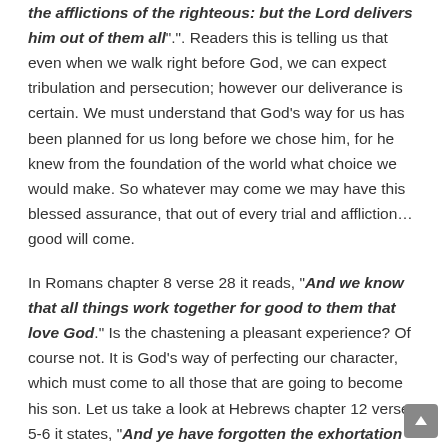the afflictions of the righteous: but the Lord delivers him out of them all.". Readers this is telling us that even when we walk right before God, we can expect tribulation and persecution; however our deliverance is certain. We must understand that God's way for us has been planned for us long before we chose him, for he knew from the foundation of the world what choice we would make. So whatever may come we may have this blessed assurance, that out of every trial and affliction... good will come.
In Romans chapter 8 verse 28 it reads, "And we know that all things work together for good to them that love God." Is the chastening a pleasant experience? Of course not. It is God's way of perfecting our character, which must come to all those that are going to become his son. Let us take a look at Hebrews chapter 12 verses 5-6 it states, "And ye have forgotten the exhortation which speaketh unto you as unto children, My son despise thou not the chastening of the Lord, Nor faint when thou art rebuked